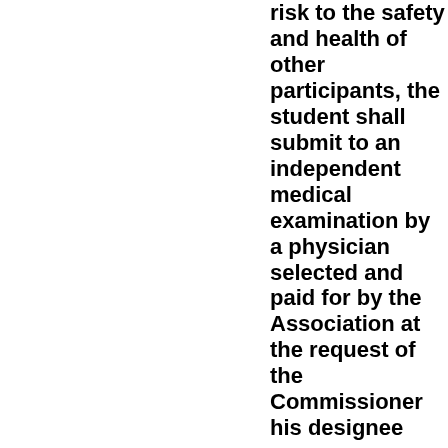risk to the safety and health of other participants, the student shall submit to an independent medical examination by a physician selected and paid for by the Association at the request of the Commissioner his designee